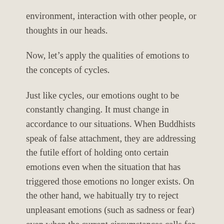environment, interaction with other people, or thoughts in our heads.
Now, let’s apply the qualities of emotions to the concepts of cycles.
Just like cycles, our emotions ought to be constantly changing. It must change in accordance to our situations. When Buddhists speak of false attachment, they are addressing the futile effort of holding onto certain emotions even when the situation that has triggered those emotions no longer exists. On the other hand, we habitually try to reject unpleasant emotions (such as sadness or fear) even when the current circumstances calls for it.